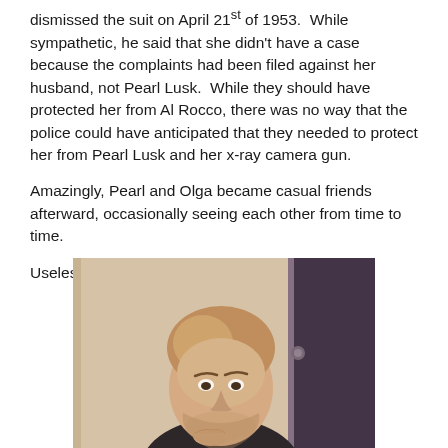dismissed the suit on April 21st of 1953.  While sympathetic, he said that she didn't have a case because the complaints had been filed against her husband, not Pearl Lusk.  While they should have protected her from Al Rocco, there was no way that the police could have anticipated that they needed to protect her from Pearl Lusk and her x-ray camera gun.
Amazingly, Pearl and Olga became casual friends afterward, occasionally seeing each other from time to time.
Useless?  Useful?  I'll leave that for you to decide.
[Figure (photo): A woman with short reddish-blonde hair, smiling, wearing dark clothing, photographed indoors with a dark background panel on the right side. Vintage/retro photo style with warm tones.]